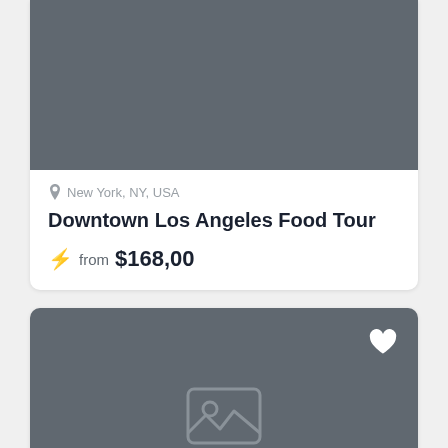[Figure (photo): Gray placeholder image area for card 1 (top portion, cropped)]
New York, NY, USA
Downtown Los Angeles Food Tour
from $168,00
[Figure (photo): Gray placeholder image card 2 with heart icon and image placeholder icon]